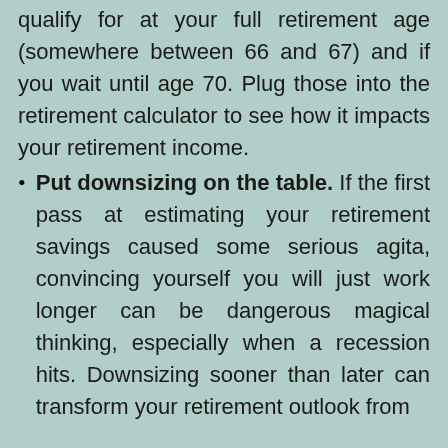qualify for at your full retirement age (somewhere between 66 and 67) and if you wait until age 70. Plug those into the retirement calculator to see how it impacts your retirement income.
Put downsizing on the table. If the first pass at estimating your retirement savings caused some serious agita, convincing yourself you will just work longer can be dangerous magical thinking, especially when a recession hits. Downsizing sooner than later can transform your retirement outlook from